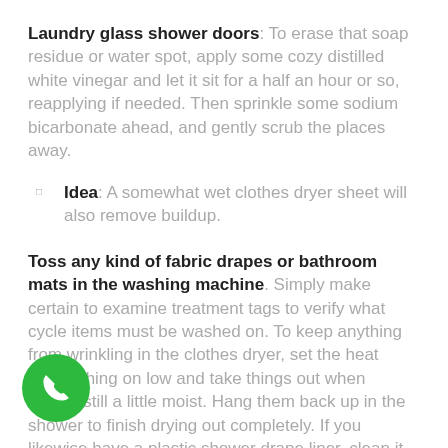Laundry glass shower doors: To erase that soap residue or water spot, apply some cozy distilled white vinegar and let it sit for a half an hour or so, reapplying if needed. Then sprinkle some sodium bicarbonate ahead, and gently scrub the places away.
Idea: A somewhat wet clothes dryer sheet will also remove buildup.
Toss any kind of fabric drapes or bathroom mats in the washing machine. Simply make certain to examine treatment tags to verify what cycle items must be washed on. To keep anything from wrinkling in the clothes dryer, set the heat establishing on low and take things out when they're still a little moist. Hang them back up in the shower to finish drying out completely. If you likewise have a plastic shower drape liner, clean it in the w on cool, and rehang it to dry, or replace it with a ne.